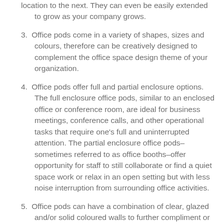location to the next. They can even be easily extended to grow as your company grows.
3. Office pods come in a variety of shapes, sizes and colours, therefore can be creatively designed to complement the office space design theme of your organization.
4. Office pods offer full and partial enclosure options. The full enclosure office pods, similar to an enclosed office or conference room, are ideal for business meetings, conference calls, and other operational tasks that require one's full and uninterrupted attention. The partial enclosure office pods–sometimes referred to as office booths–offer opportunity for staff to still collaborate or find a quiet space work or relax in an open setting but with less noise interruption from surrounding office activities.
5. Office pods can have a combination of clear, glazed and/or solid coloured walls to further compliment or enhance the office space design theme while still maintaining a balance between open office space